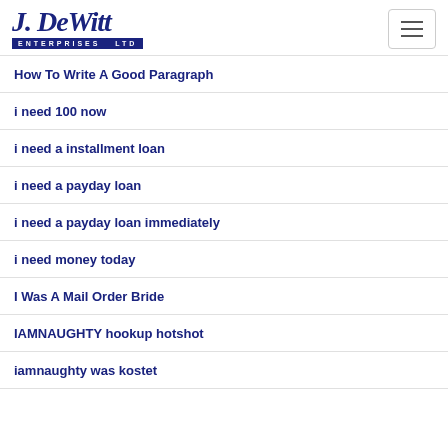J. DeWitt Enterprises Ltd
How To Write A Good Paragraph
i need 100 now
i need a installment loan
i need a payday loan
i need a payday loan immediately
i need money today
I Was A Mail Order Bride
IAMNAUGHTY hookup hotshot
iamnaughty was kostet